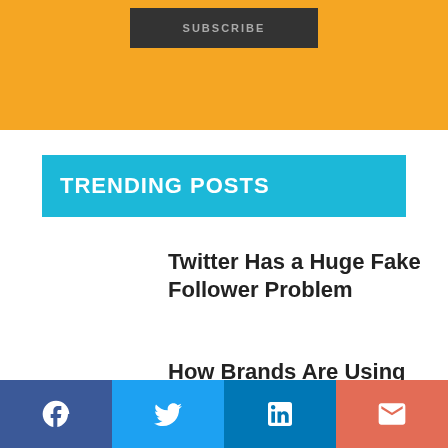[Figure (other): Orange background bar with a dark gray Subscribe button at top]
TRENDING POSTS
Twitter Has a Huge Fake Follower Problem
How Brands Are Using Social Media As A
[Figure (other): Social media share bar with Facebook, Twitter, LinkedIn, and Email buttons]